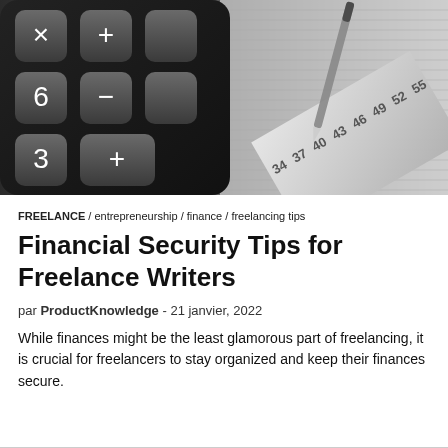[Figure (photo): Close-up photo of a black calculator with grey keys showing symbols including multiplication, minus, 3, plus, equals, and a decimal point on the left side, and a ruler/measuring tape with numbers 34, 37, 40, 43, 46, 49, 52, 55, 58 on the right side, with a pen resting on top. Financial/accounting themed image.]
FREELANCE / entrepreneurship / finance / freelancing tips
Financial Security Tips for Freelance Writers
par ProductKnowledge - 21 janvier, 2022
While finances might be the least glamorous part of freelancing, it is crucial for freelancers to stay organized and keep their finances secure.